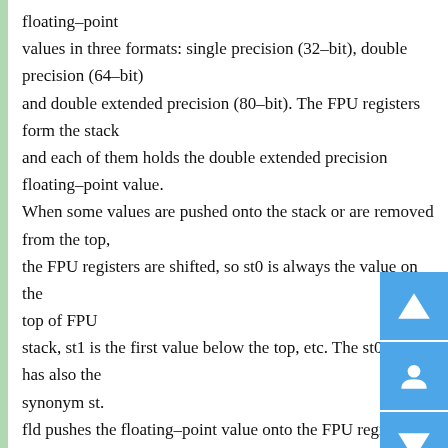floating–point values in three formats: single precision (32–bit), double precision (64–bit) and double extended precision (80–bit). The FPU registers form the stack and each of them holds the double extended precision floating–point value. When some values are pushed onto the stack or are removed from the top, the FPU registers are shifted, so st0 is always the value on the top of FPU stack, st1 is the first value below the top, etc. The st0 name has also the synonym st. fld pushes the floating–point value onto the FPU register